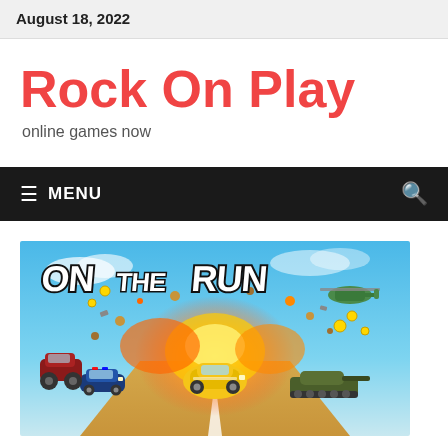August 18, 2022
Rock On Play
online games now
☰ MENU
[Figure (illustration): On The Run game artwork showing a yellow car speeding on a road with explosions, a monster truck, a military tank, and helicopters. The game title 'ON THE RUN' is displayed in bold black letters at the top.]